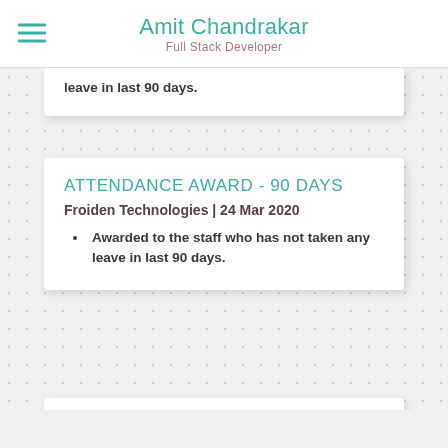Amit Chandrakar
Full Stack Developer
leave in last 90 days.
ATTENDANCE AWARD - 90 DAYS
Froiden Technologies | 24 Mar 2020
Awarded to the staff who has not taken any leave in last 90 days.